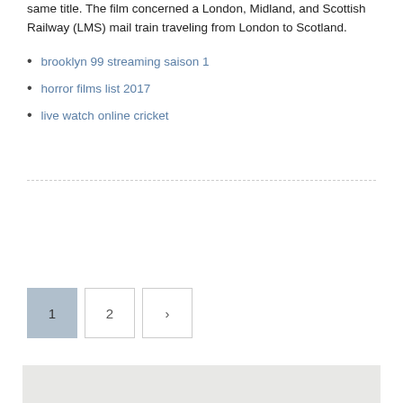same title. The film concerned a London, Midland, and Scottish Railway (LMS) mail train traveling from London to Scotland.
brooklyn 99 streaming saison 1
horror films list 2017
live watch online cricket
[Figure (other): Pagination controls showing page 1 (active/highlighted), page 2, and a next arrow button]
[Figure (photo): Light gray textured footer image strip at the bottom of the page]